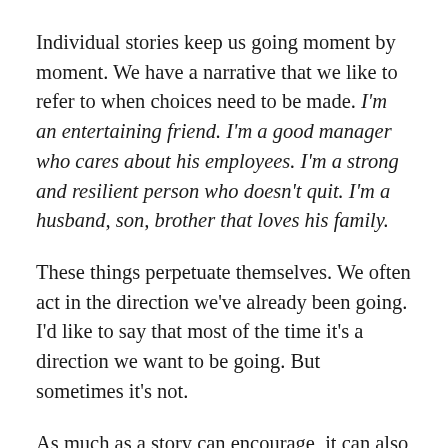Individual stories keep us going moment by moment. We have a narrative that we like to refer to when choices need to be made. I'm an entertaining friend. I'm a good manager who cares about his employees. I'm a strong and resilient person who doesn't quit. I'm a husband, son, brother that loves his family.
These things perpetuate themselves. We often act in the direction we've already been going. I'd like to say that most of the time it's a direction we want to be going. But sometimes it's not.
As much as a story can encourage, it can also